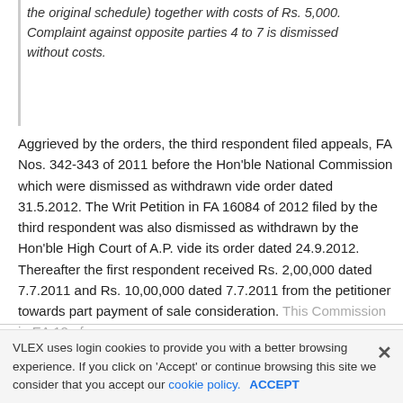the original schedule) together with costs of Rs. 5,000. Complaint against opposite parties 4 to 7 is dismissed without costs.
Aggrieved by the orders, the third respondent filed appeals, FA Nos. 342-343 of 2011 before the Hon'ble National Commission which were dismissed as withdrawn vide order dated 31.5.2012. The Writ Petition in FA 16084 of 2012 filed by the third respondent was also dismissed as withdrawn by the Hon'ble High Court of A.P. vide its order dated 24.9.2012. Thereafter the first respondent received Rs. 2,00,000 dated 7.7.2011 and Rs. 10,00,000 dated 7.7.2011 from the petitioner towards part payment of sale consideration. This Commission in EA 12 of.
VLEX uses login cookies to provide you with a better browsing experience. If you click on 'Accept' or continue browsing this site we consider that you accept our cookie policy. ACCEPT